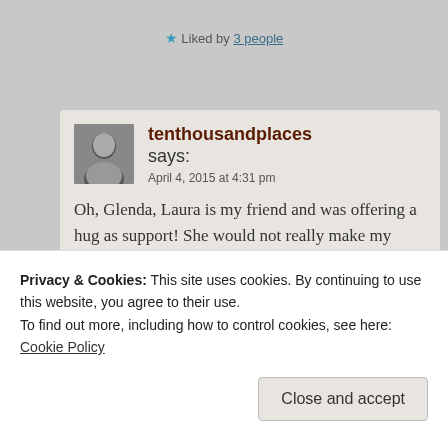★ Liked by 3 people
tenthousandplaces says:
April 4, 2015 at 4:31 pm

Oh, Glenda, Laura is my friend and was offering a hug as support! She would not really make my eyes bug out, I don't think. Probably? ❤

★ Liked by 2 people
Privacy & Cookies: This site uses cookies. By continuing to use this website, you agree to their use.
To find out more, including how to control cookies, see here: Cookie Policy
Close and accept